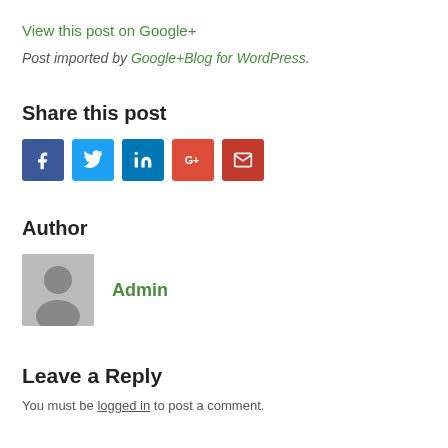View this post on Google+
Post imported by Google+Blog for WordPress.
Share this post
[Figure (infographic): Row of social share icon buttons: Facebook (blue), Twitter (light blue), LinkedIn (dark blue), Google+ (red/orange), Email (red)]
Author
[Figure (photo): Generic grey avatar/profile silhouette image]
Admin
Leave a Reply
You must be logged in to post a comment.